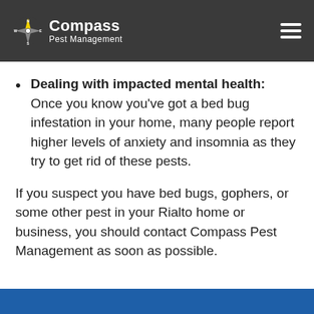Compass Pest Management
Dealing with impacted mental health: Once you know you've got a bed bug infestation in your home, many people report higher levels of anxiety and insomnia as they try to get rid of these pests.
If you suspect you have bed bugs, gophers, or some other pest in your Rialto home or business, you should contact Compass Pest Management as soon as possible.